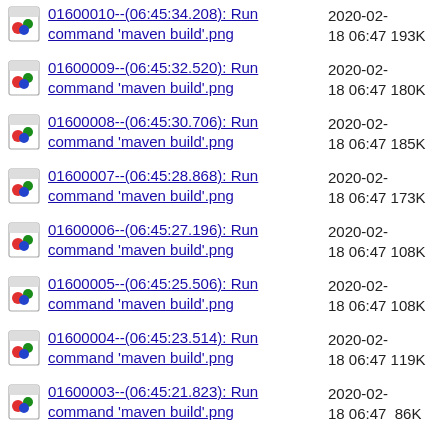01600010--(06:45:34.208): Run command 'maven build'.png  2020-02-18 06:47  193K
01600009--(06:45:32.520): Run command 'maven build'.png  2020-02-18 06:47  180K
01600008--(06:45:30.706): Run command 'maven build'.png  2020-02-18 06:47  185K
01600007--(06:45:28.868): Run command 'maven build'.png  2020-02-18 06:47  173K
01600006--(06:45:27.196): Run command 'maven build'.png  2020-02-18 06:47  108K
01600005--(06:45:25.506): Run command 'maven build'.png  2020-02-18 06:47  108K
01600004--(06:45:23.514): Run command 'maven build'.png  2020-02-18 06:47  119K
01600003--(06:45:21.823): Run command 'maven build'.png  2020-02-18 06:47  86K